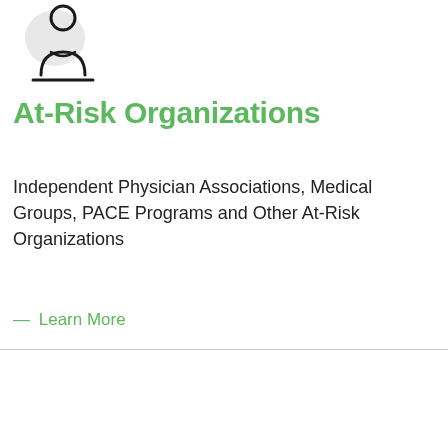[Figure (illustration): Line-art icon of a person/physician figure with a circular background element, outline style in black and grey]
At-Risk Organizations
Independent Physician Associations, Medical Groups, PACE Programs and Other At-Risk Organizations
— Learn More